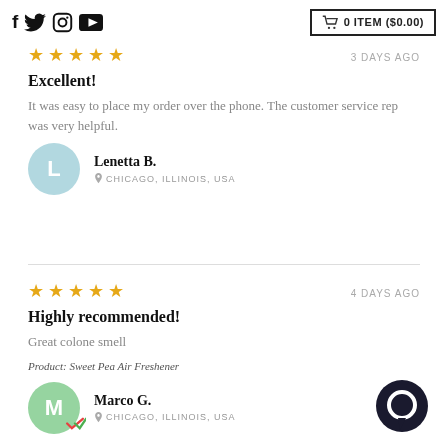Social icons: f, Twitter, Instagram, YouTube | 0 ITEM ($0.00)
★★★★★  3 DAYS AGO
Excellent!
It was easy to place my order over the phone. The customer service rep was very helpful.
Lenetta B. — CHICAGO, ILLINOIS, USA
★★★★★  4 DAYS AGO
Highly recommended!
Great colone smell
Product: Sweet Pea Air Freshener
Marco G. — CHICAGO, ILLINOIS, USA